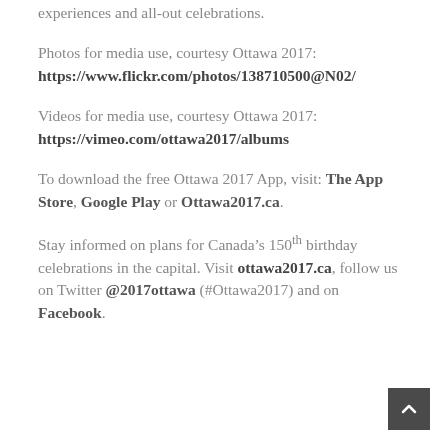experiences and all-out celebrations.
Photos for media use, courtesy Ottawa 2017:
https://www.flickr.com/photos/138710500@N02/
Videos for media use, courtesy Ottawa 2017:
https://vimeo.com/ottawa2017/albums
To download the free Ottawa 2017 App, visit: The App Store, Google Play or Ottawa2017.ca.
Stay informed on plans for Canada’s 150th birthday celebrations in the capital. Visit ottawa2017.ca, follow us on Twitter @2017ottawa (#Ottawa2017) and on Facebook.